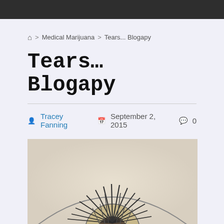Home > Medical Marijuana > Tears... Blogapy
Tears... Blogapy
Tracey Fanning  September 2, 2015  0
[Figure (illustration): A pencil sketch illustration of a human eye viewed from below, showing the eyelashes radiating outward from the lower lid, with the iris and pupil partially visible.]